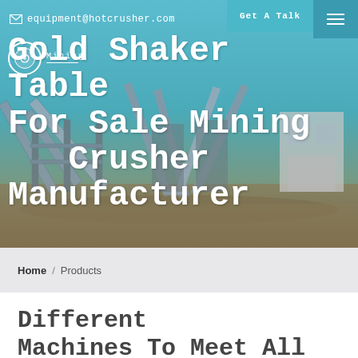equipment@hotcrusher.com   Get A Talk
[Figure (photo): Mining crusher facility with conveyor belts and industrial equipment against a blue sky background]
Gold Shaker Table For Sale Mining Crusher Manufacturer
Home / Products
Different Machines To Meet All